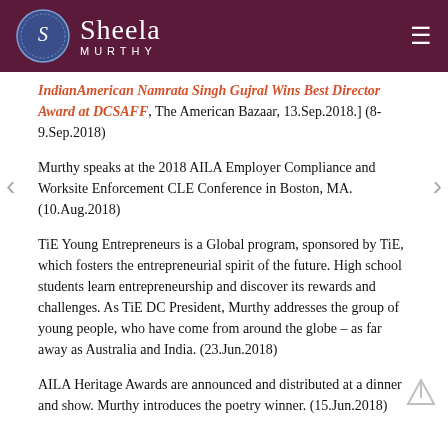Sheela Murthy
IndianAmerican Namrata Singh Gujral Wins Best Director Award at DCSAFF, The American Bazaar, 13.Sep.2018.] (8-9.Sep.2018)
Murthy speaks at the 2018 AILA Employer Compliance and Worksite Enforcement CLE Conference in Boston, MA. (10.Aug.2018)
TiE Young Entrepreneurs is a Global program, sponsored by TiE, which fosters the entrepreneurial spirit of the future. High school students learn entrepreneurship and discover its rewards and challenges. As TiE DC President, Murthy addresses the group of young people, who have come from around the globe – as far away as Australia and India. (23.Jun.2018)
AILA Heritage Awards are announced and distributed at a dinner and show. Murthy introduces the poetry winner. (15.Jun.2018)